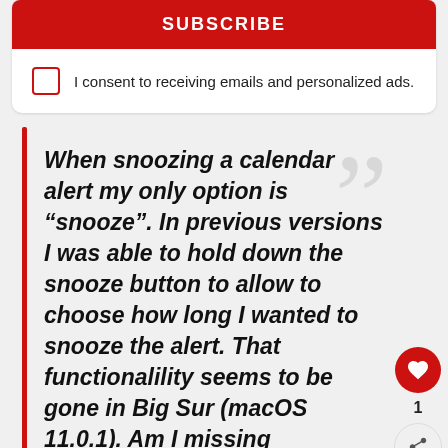[Figure (screenshot): Subscribe button (red) at top of card]
I consent to receiving emails and personalized ads.
When snoozing a calendar alert my only option is “snooze”. In previous versions I was able to hold down the snooze button to allow to choose how long I wanted to snooze the alert. That functionalility seems to be gone in Big Sur (macOS 11.0.1). Am I missing something?
Source